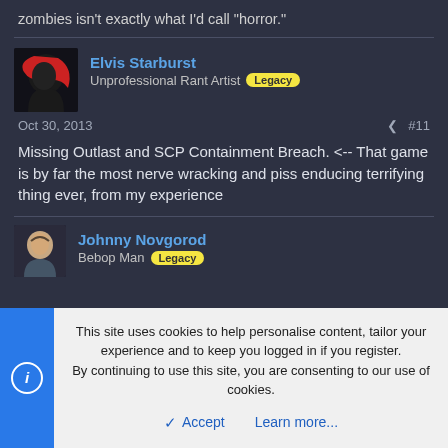zombies isn't exactly what I'd call "horror."
Elvis Starburst
Unprofessional Rant Artist Legacy
Oct 30, 2013  #11
Missing Outlast and SCP Containment Breach. <-- That game is by far the most nerve wracking and piss enducing terrifying thing ever, from my experience
Johnny Novgorod
Bebop Man Legacy
This site uses cookies to help personalise content, tailor your experience and to keep you logged in if you register.
By continuing to use this site, you are consenting to our use of cookies.
Accept   Learn more...